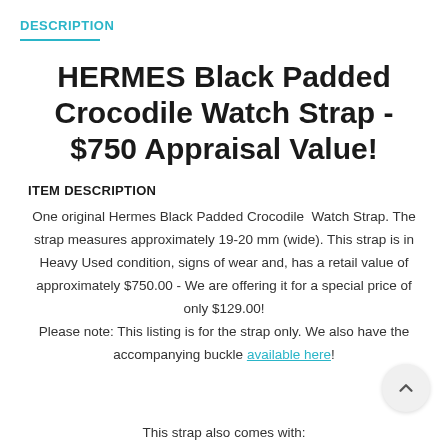DESCRIPTION
HERMES Black Padded Crocodile Watch Strap - $750 Appraisal Value!
ITEM DESCRIPTION
One original Hermes Black Padded Crocodile Watch Strap. The strap measures approximately 19-20 mm (wide). This strap is in Heavy Used condition, signs of wear and, has a retail value of approximately $750.00 - We are offering it for a special price of only $129.00! Please note: This listing is for the strap only. We also have the accompanying buckle available here!
This strap also comes with: